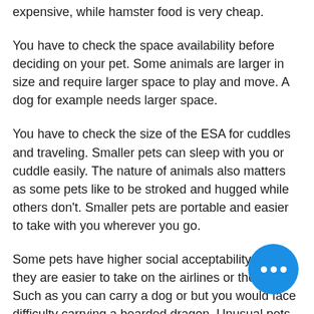expensive, while hamster food is very cheap.
You have to check the space availability before deciding on your pet. Some animals are larger in size and require larger space to play and move. A dog for example needs larger space.
You have to check the size of the ESA for cuddles and traveling. Smaller pets can sleep with you or cuddle easily. The nature of animals also matters as some pets like to be stroked and hugged while others don't. Smaller pets are portable and easier to take with you wherever you go.
Some pets have higher social acceptability and they are easier to take on the airlines or the bus. Such as you can carry a dog or but you would face difficulty carrying a bearded dragon. Unusual pets usually bring and their owners are challenged to...